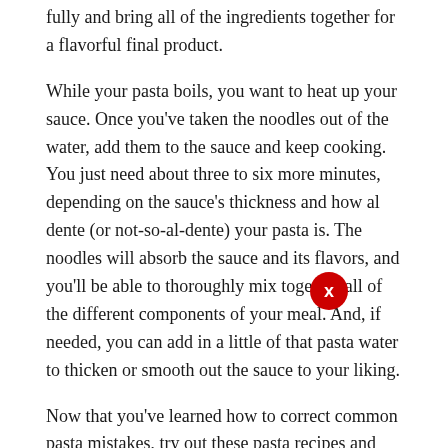fully and bring all of the ingredients together for a flavorful final product.
While your pasta boils, you want to heat up your sauce. Once you've taken the noodles out of the water, add them to the sauce and keep cooking. You just need about three to six more minutes, depending on the sauce's thickness and how al dente (or not-so-al-dente) your pasta is. The noodles will absorb the sauce and its flavors, and you'll be able to thoroughly mix together all of the different components of your meal. And, if needed, you can add in a little of that pasta water to thicken or smooth out the sauce to your liking.
Now that you've learned how to correct common pasta mistakes, try out these pasta recipes and put your skills into practice:
Roasted Garlic Tomato Pasta